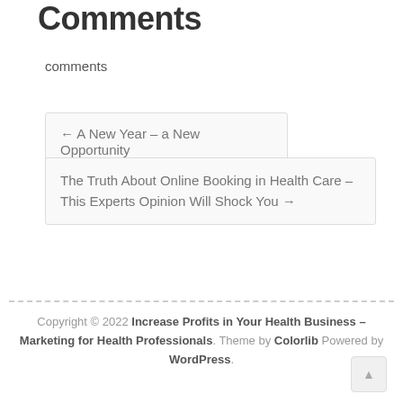Comments
comments
← A New Year – a New Opportunity
The Truth About Online Booking in Health Care – This Experts Opinion Will Shock You →
Copyright © 2022 Increase Profits in Your Health Business – Marketing for Health Professionals. Theme by Colorlib Powered by WordPress.